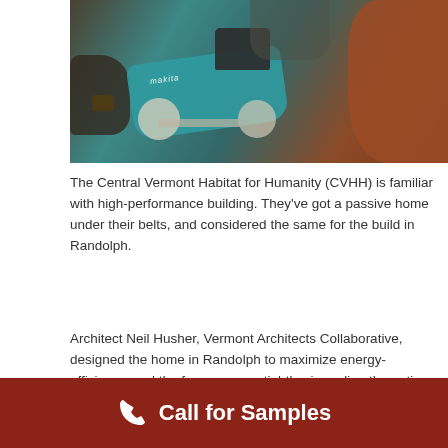[Figure (photo): A person using a Makita belt sander or power tool on wood, with another person's arm visible in the background. Close-up construction/building scene.]
The Central Vermont Habitat for Humanity (CVHH) is familiar with high-performance building. They've got a passive home under their belts, and considered the same for the build in Randolph.
Architect Neil Husher, Vermont Architects Collaborative, designed the home in Randolph to maximize energy-efficiency, and the focus was on tightly air-sealing the entire building envelope.
Call for Samples